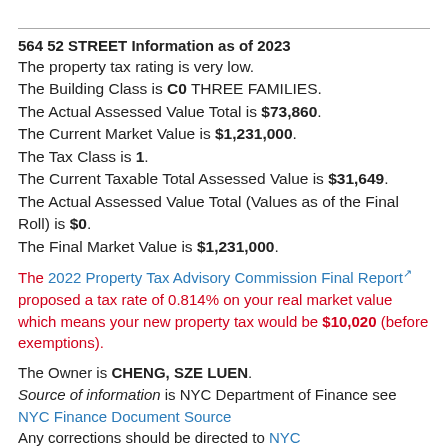564 52 STREET Information as of 2023
The property tax rating is very low. The Building Class is C0 THREE FAMILIES. The Actual Assessed Value Total is $73,860. The Current Market Value is $1,231,000. The Tax Class is 1. The Current Taxable Total Assessed Value is $31,649. The Actual Assessed Value Total (Values as of the Final Roll) is $0. The Final Market Value is $1,231,000.
The 2022 Property Tax Advisory Commission Final Report proposed a tax rate of 0.814% on your real market value which means your new property tax would be $10,020 (before exemptions).
The Owner is CHENG, SZE LUEN. Source of information is NYC Department of Finance see NYC Finance Document Source Any corrections should be directed to NYC